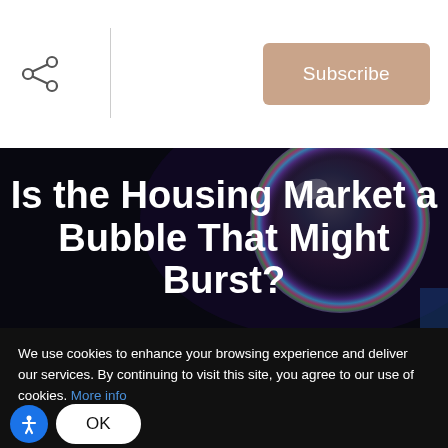Subscribe
[Figure (photo): Dark background with a colorful iridescent soap bubble on the right side, used as hero image for an article about the housing market bubble]
Is the Housing Market a Bubble That Might Burst?
We use cookies to enhance your browsing experience and deliver our services. By continuing to visit this site, you agree to our use of cookies. More info
OK